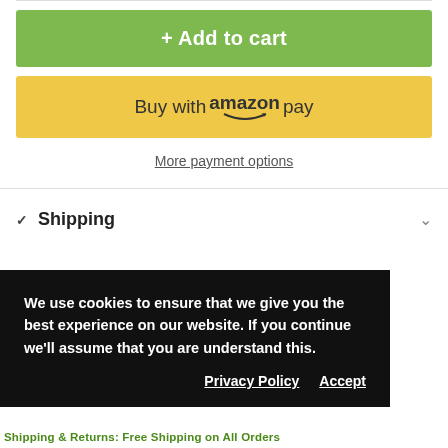+ Add to cart
Buy with amazon pay
More payment options
Shipping
We use cookies to ensure that we give you the best experience on our website. If you continue we'll assume that you are understand this.
Privacy Policy  Accept
Shipping & Returns: Free Shipping on All Orders